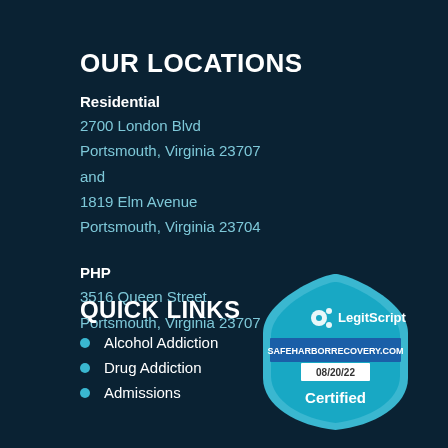OUR LOCATIONS
Residential
2700 London Blvd
Portsmouth, Virginia 23707
and
1819 Elm Avenue
Portsmouth, Virginia 23704
PHP
3516 Queen Street
Portsmouth, Virginia 23707
QUICK LINKS
Alcohol Addiction
Drug Addiction
Admissions
[Figure (logo): LegitScript certified badge showing SAFEHARBORRECOVERY.COM, dated 08/20/22, Certified]